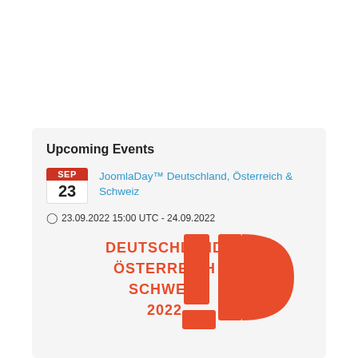Upcoming Events
JoomlaDay™ Deutschland, Österreich & Schweiz
23.09.2022 15:00 UTC - 24.09.2022
[Figure (logo): JoomlaDay Deutschland Österreich Schweiz 2022 logo with orange text and JD monogram graphic]